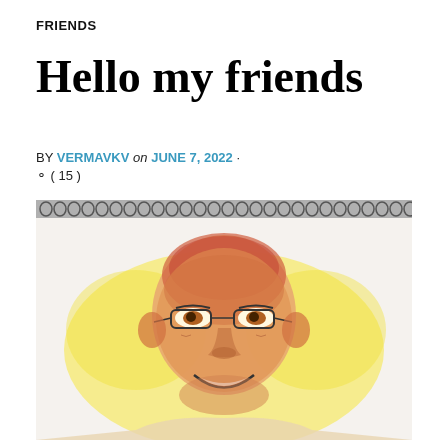FRIENDS
Hello my friends
BY VERMAVKV on JUNE 7, 2022 ·
( 15 )
[Figure (illustration): A colored pencil sketch portrait of a smiling bald elderly man wearing glasses, drawn on a spiral-bound sketchbook. The background is yellow with warm orange and red tones on the face.]